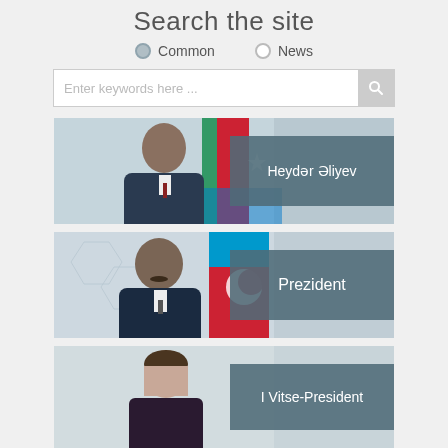Search the site
Common   News
Enter keywords here ...
[Figure (photo): Official portrait photo of Heydər Əliyev in front of Azerbaijani flags with teal label reading 'Heydər Əliyev']
[Figure (photo): Official portrait photo of the President (Prezident) in front of Azerbaijani flags with teal label reading 'Prezident']
[Figure (photo): Official portrait photo of I Vitse-President in front of background with teal label reading 'I Vitse-President']